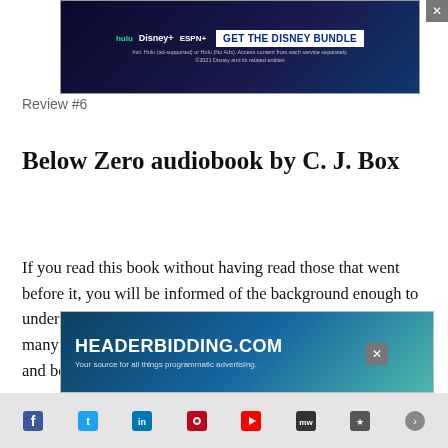[Figure (screenshot): Disney Bundle advertisement banner with Hulu, Disney+, ESPN+ logos and 'GET THE DISNEY BUNDLE' call to action button]
Review #6
Below Zero audiobook by C. J. Box
If you read this book without having read those that went before it, you will be informed of the background enough to understand it but you won't enjoy it nearly so much. As in many of the Pickett novels, there are two co-existing plots and both are riveting. The story begins with a telephone message: "Tell Sherry that April called." But Joe his d
[Figure (screenshot): HEADERBIDDING.COM advertisement banner - Your source for all things programmatic advertising]